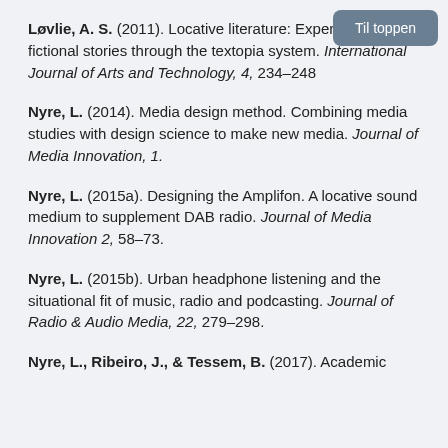Løvlie, A. S. (2011). Locative literature: Experiencing fictional stories through the textopia system. International Journal of Arts and Technology, 4, 234–248
Nyre, L. (2014). Media design method. Combining media studies with design science to make new media. Journal of Media Innovation, 1.
Nyre, L. (2015a). Designing the Amplifon. A locative sound medium to supplement DAB radio. Journal of Media Innovation 2, 58–73.
Nyre, L. (2015b). Urban headphone listening and the situational fit of music, radio and podcasting. Journal of Radio & Audio Media, 22, 279–298.
Nyre, L., Ribeiro, J., & Tessem, B. (2017). Academic